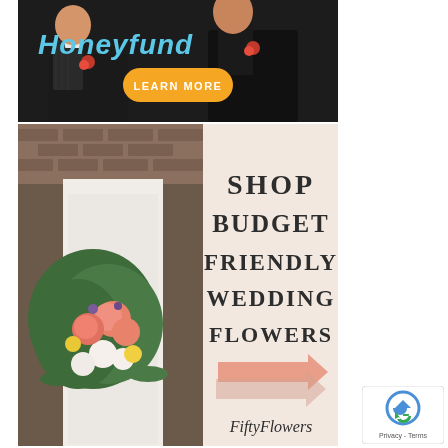[Figure (illustration): Top advertisement banner for Honeyfund with cursive logo text in teal/blue color and an orange rounded 'LEARN MORE' button, overlaid on a dark background with two men in suits with red rose boutonnieres]
[Figure (illustration): Bottom advertisement for FiftyFlowers.com showing a bride holding a colorful wedding bouquet on the left half, and on the right half text reading 'SHOP BUDGET FRIENDLY WEDDING FLOWERS' in dark serif font on a peach/blush background, with a coral arrow graphic and 'FiftyFlowers' cursive logo at bottom]
[Figure (logo): reCAPTCHA badge in bottom right corner showing Google reCAPTCHA logo with 'Privacy - Terms' text]